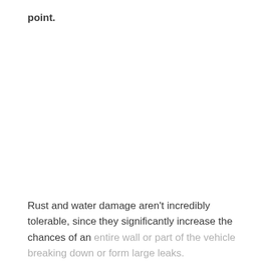point.
Rust and water damage aren't incredibly tolerable, since they significantly increase the chances of an entire wall or part of the vehicle breaking down or form large leaks.